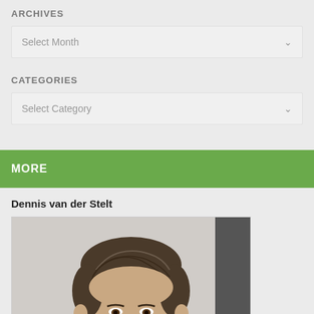ARCHIVES
[Figure (screenshot): Dropdown widget with 'Select Month' placeholder and down arrow]
CATEGORIES
[Figure (screenshot): Dropdown widget with 'Select Category' placeholder and down arrow]
MORE
Dennis van der Stelt
[Figure (photo): Headshot photo of a man with dark hair looking slightly to the side]